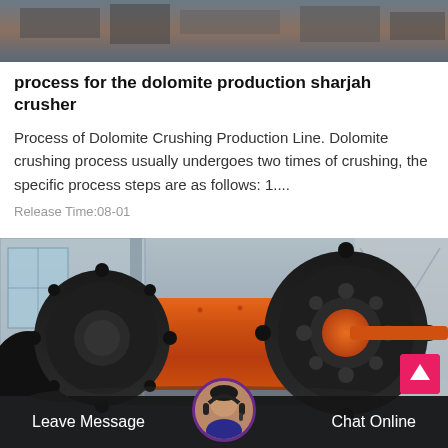[Figure (photo): Top portion of industrial machinery/crusher equipment in a facility — partial view showing metal structures]
process for the dolomite production sharjah crusher
Process of Dolomite Crushing Production Line. Dolomite crushing process usually undergoes two times of crushing, the specific process steps are as follows: 1....
Release Time:08-01
[Figure (photo): Orange industrial ball mill machine with large black gear rings on both ends, in an industrial facility with concrete walls and steel structures in background]
Leave Message
Chat Online